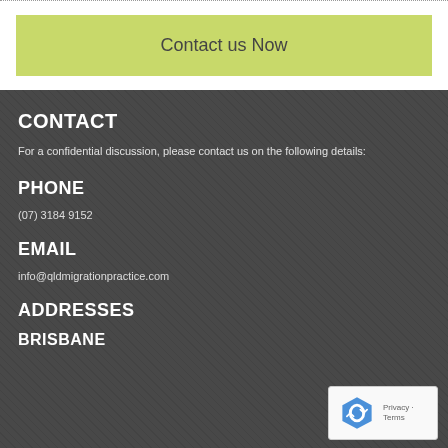Contact us Now
CONTACT
For a confidential discussion, please contact us on the following details:
PHONE
(07) 3184 9152
EMAIL
info@qldmigrationpractice.com
ADDRESSES
BRISBANE